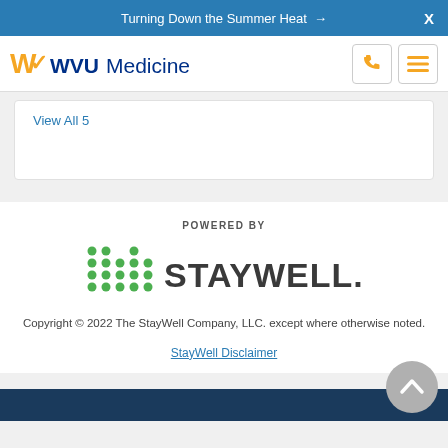Turning Down the Summer Heat →  X
[Figure (logo): WVU Medicine logo with stylized WV check mark in gold and WVU in dark blue bold text followed by Medicine in regular weight]
View All 5
POWERED BY
[Figure (logo): StayWell logo with green dot-matrix bars icon on left and STAYWELL. text in dark gray on right]
Copyright © 2022 The StayWell Company, LLC. except where otherwise noted.
StayWell Disclaimer